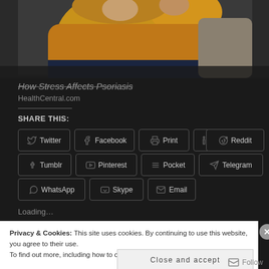[Figure (photo): Person in yellow sweater, partial view from shoulders up, sitting on a couch]
How Stress Affects Psoriasis
HealthCentral.com
SHARE THIS:
Twitter
Facebook
Print
LinkedIn
Reddit
Tumblr
Pinterest
Pocket
Telegram
WhatsApp
Skype
Email
Loading...
Privacy & Cookies: This site uses cookies. By continuing to use this website, you agree to their use.
To find out more, including how to control cookies, see here: Cookie Policy
Close and accept
Follow